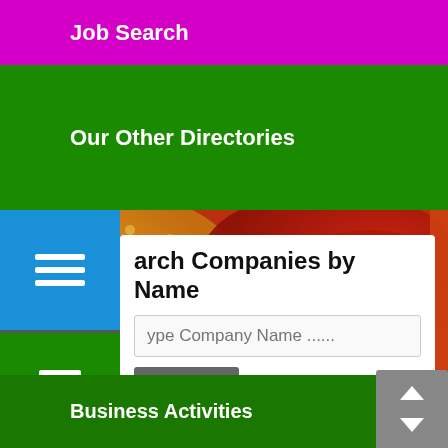Job Search
Our Other Directories
[Figure (photo): Colorful spices and grains background image]
Search Companies by Name
Type Company Name ......
Search
Business Activities